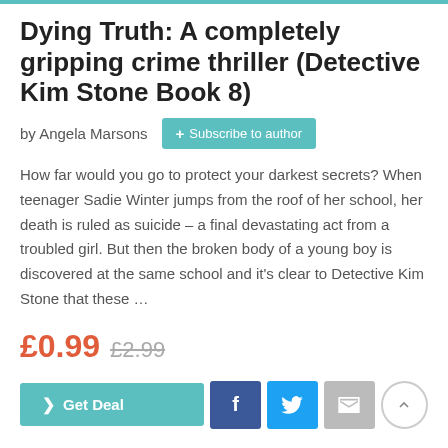Dying Truth: A completely gripping crime thriller (Detective Kim Stone Book 8)
by Angela Marsons
How far would you go to protect your darkest secrets? When teenager Sadie Winter jumps from the roof of her school, her death is ruled as suicide – a final devastating act from a troubled girl. But then the broken body of a young boy is discovered at the same school and it's clear to Detective Kim Stone that these …
£0.99  £2.99